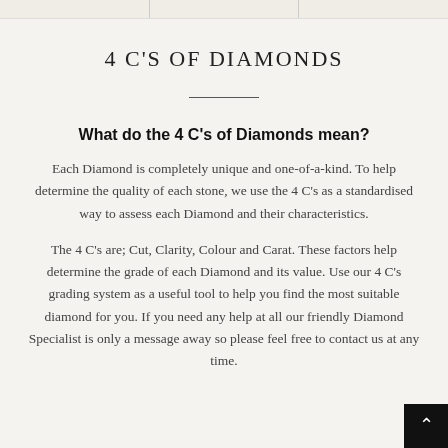4 C'S OF DIAMONDS
What do the 4 C's of Diamonds mean?
Each Diamond is completely unique and one-of-a-kind. To help determine the quality of each stone, we use the 4 C's as a standardised way to assess each Diamond and their characteristics.
The 4 C's are; Cut, Clarity, Colour and Carat. These factors help determine the grade of each Diamond and its value. Use our 4 C's grading system as a useful tool to help you find the most suitable diamond for you. If you need any help at all our friendly Diamond Specialist is only a message away so please feel free to contact us at any time.